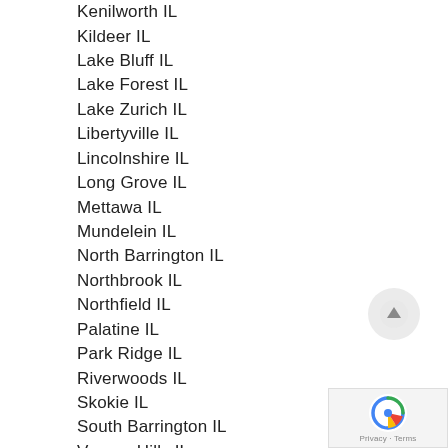Kenilworth IL
Kildeer IL
Lake Bluff IL
Lake Forest IL
Lake Zurich IL
Libertyville IL
Lincolnshire IL
Long Grove IL
Mettawa IL
Mundelein IL
North Barrington IL
Northbrook IL
Northfield IL
Palatine IL
Park Ridge IL
Riverwoods IL
Skokie IL
South Barrington IL
Vernon Hills IL
Wilmette IL
Winnetka IL
Wynstone IL